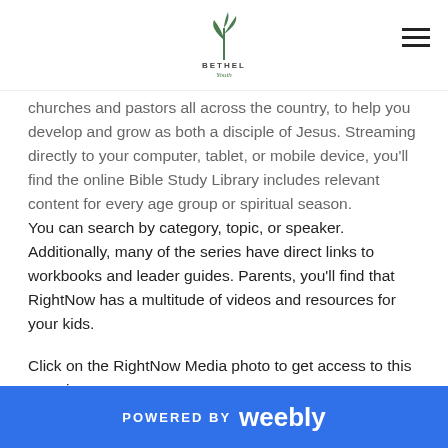Bethel Youth logo and navigation
churches and pastors all across the country, to help you develop and grow as both a disciple of Jesus. Streaming directly to your computer, tablet, or mobile device, you'll find the online Bible Study Library includes relevant content for every age group or spiritual season.
You can search by category, topic, or speaker. Additionally, many of the series have direct links to workbooks and leader guides. Parents, you'll find that RightNow has a multitude of videos and resources for your kids.
Click on the RightNow Media photo to get access to this amazing resource now.
POWERED BY weebly